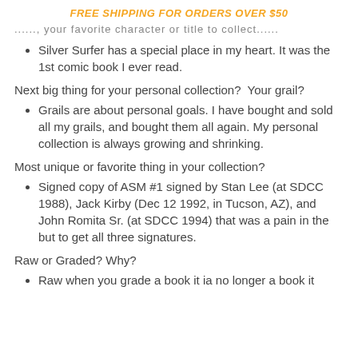FREE SHIPPING FOR ORDERS OVER $50
...where your favorite character or title to collect...
Silver Surfer has a special place in my heart. It was the 1st comic book I ever read.
Next big thing for your personal collection?  Your grail?
Grails are about personal goals. I have bought and sold all my grails, and bought them all again. My personal collection is always growing and shrinking.
Most unique or favorite thing in your collection?
Signed copy of ASM #1 signed by Stan Lee (at SDCC 1988), Jack Kirby (Dec 12 1992, in Tucson, AZ), and John Romita Sr. (at SDCC 1994) that was a pain in the but to get all three signatures.
Raw or Graded? Why?
Raw when you grade a book it ia no longer a book it